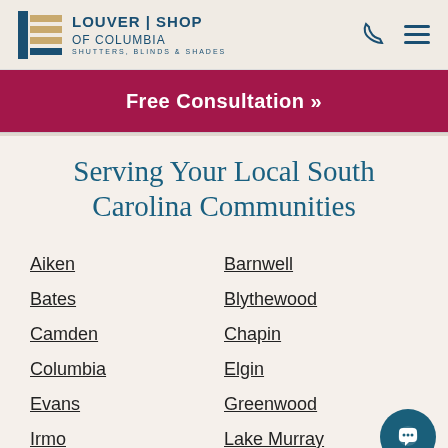[Figure (logo): Louver Shop of Columbia logo with shutters/blinds/shades icon and text]
Free Consultation »
Serving Your Local South Carolina Communities
Aiken
Barnwell
Bates
Blythewood
Camden
Chapin
Columbia
Elgin
Evans
Greenwood
Irmo
Lake Murray